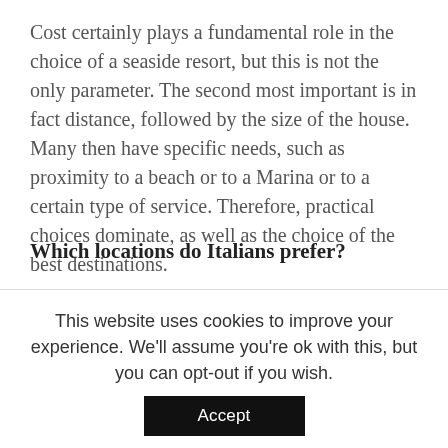Cost certainly plays a fundamental role in the choice of a seaside resort, but this is not the only parameter. The second most important is in fact distance, followed by the size of the house. Many then have specific needs, such as proximity to a beach or to a Marina or to a certain type of service. Therefore, practical choices dominate, as well as the choice of the best destinations.
Which locations do Italians prefer?
According to “Il Sole 24 Ore”, among the locations preferred by Italians in this first half of 2022, those who live in the north, clearly more distant from the sea and therefore with a greater need for a beach
This website uses cookies to improve your experience. We'll assume you're ok with this, but you can opt-out if you wish.
Accept